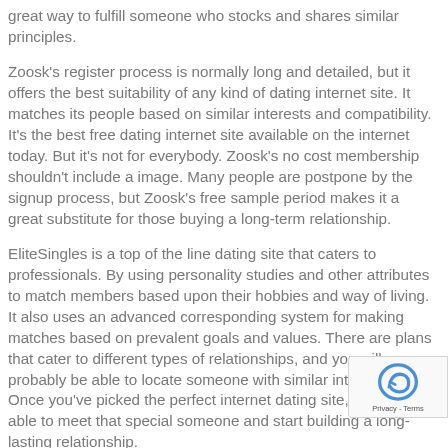great way to fulfill someone who stocks and shares similar principles.
Zoosk's register process is normally long and detailed, but it offers the best suitability of any kind of dating internet site. It matches its people based on similar interests and compatibility. It's the best free dating internet site available on the internet today. But it's not for everybody. Zoosk's no cost membership shouldn't include a image. Many people are postpone by the signup process, but Zoosk's free sample period makes it a great substitute for those buying a long-term relationship.
EliteSingles is a top of the line dating site that caters to professionals. By using personality studies and other attributes to match members based upon their hobbies and way of living. It also uses an advanced corresponding system for making matches based on prevalent goals and values. There are plans that cater to different types of relationships, and you will probably be able to locate someone with similar interests. Once you've picked the perfect internet dating site, you'll be able to meet that special someone and start building a long-lasting relationship.